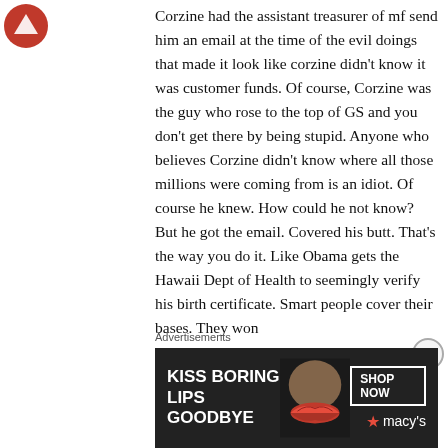Corzine had the assistant treasurer of mf send him an email at the time of the evil doings that made it look like corzine didn't know it was customer funds. Of course, Corzine was the guy who rose to the top of GS and you don't get there by being stupid. Anyone who believes Corzine didn't know where all those millions were coming from is an idiot. Of course he knew. How could he not know? But he got the email. Covered his butt. That's the way you do it. Like Obama gets the Hawaii Dept of Health to seemingly verify his birth certificate. Smart people cover their bases. They won
Advertisements
[Figure (photo): Advertisement banner for Macy's cosmetics: 'KISS BORING LIPS GOODBYE' with SHOP NOW button and Macy's star logo, featuring a woman's face with red lips]